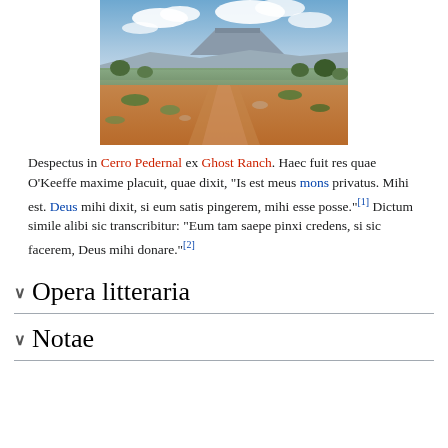[Figure (photo): Landscape photograph showing a desert scene with reddish-orange terrain, scattered shrubs and trees, and a flat-topped mountain (Cerro Pedernal) in the background under a partly cloudy sky.]
Despectus in Cerro Pedernal ex Ghost Ranch. Haec fuit res quae O'Keeffe maxime placuit, quae dixit, "Is est meus mons privatus. Mihi est. Deus mihi dixit, si eum satis pingerem, mihi esse posse."[1] Dictum simile alibi sic transcribitur: "Eum tam saepe pinxi credens, si sic facerem, Deus mihi donare."[2]
Opera litteraria
Notae